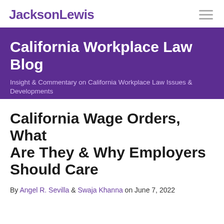JacksonLewis
California Workplace Law Blog
Insight & Commentary on California Workplace Law Issues & Developments
California Wage Orders, What Are They & Why Employers Should Care
By Angel R. Sevilla & Swaja Khanna on June 7, 2022